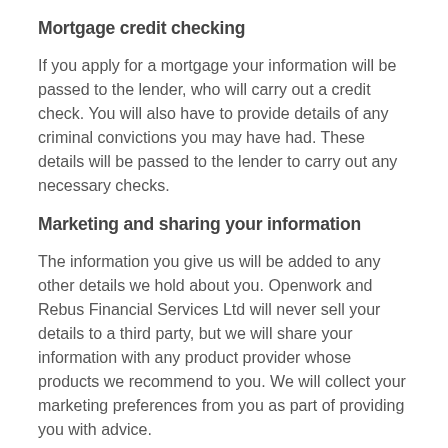Mortgage credit checking
If you apply for a mortgage your information will be passed to the lender, who will carry out a credit check. You will also have to provide details of any criminal convictions you may have had. These details will be passed to the lender to carry out any necessary checks.
Marketing and sharing your information
The information you give us will be added to any other details we hold about you. Openwork and Rebus Financial Services Ltd will never sell your details to a third party, but we will share your information with any product provider whose products we recommend to you. We will collect your marketing preferences from you as part of providing you with advice.